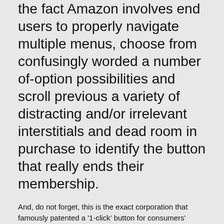the fact Amazon involves end users to properly navigate multiple menus, choose from confusingly worded a number of-option possibilities and scroll previous a variety of distracting and/or irrelevant interstitials and dead room in purchase to identify the button that really ends their membership.
And, do not forget, this is the exact corporation that famously patented a '1-click' button for consumers' money to pour into its coffers…
The NCC has made the under video clip illustrating the numerous dim designs Amazon deploys to consider to nudge Key subscribers absent from unsubscribing — such as a cartoon of a doggy barking simply because, uh, we have no concept tbh…
https://www.youtube.com/look at?v=GpEQ4OWNO4Y
Problems versus Amazon's click on-heavy procedure for Key unsubscribing are currently being filed by consumer groups in Denmark, France, Germany, Greece, Switzerland and Norway and the US — so a wide range of national and regional purchaser security guidelines are involved.